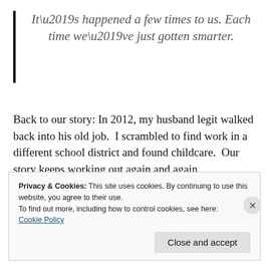It’s happened a few times to us. Each time we’ve just gotten smarter.
Back to our story: In 2012, my husband legit walked back into his old job.  I scrambled to find work in a different school district and found childcare.  Our story keeps working out again and again.
Privacy & Cookies: This site uses cookies. By continuing to use this website, you agree to their use.
To find out more, including how to control cookies, see here:
Cookie Policy